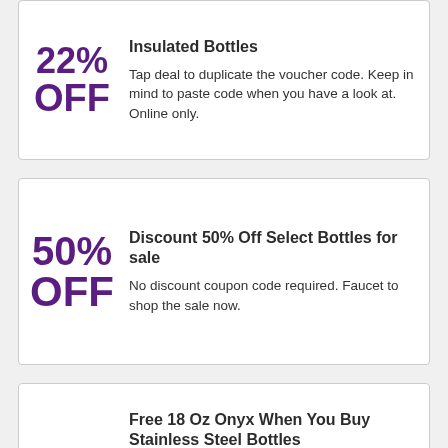22% OFF
Insulated Bottles
Tap deal to duplicate the voucher code. Keep in mind to paste code when you have a look at. Online only.
50% OFF
Discount 50% Off Select Bottles for sale
No discount coupon code required. Faucet to shop the sale now.
SALE
Free 18 Oz Onyx When You Buy Stainless Steel Bottles
Tap deal to duplicate the voucher code...